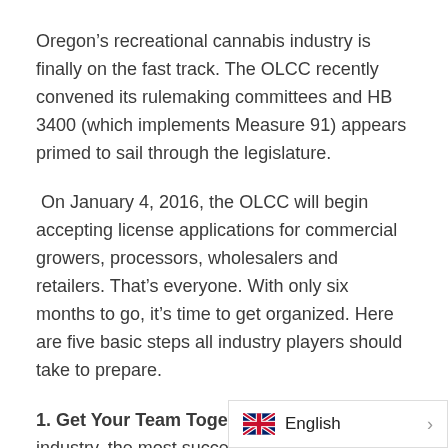Oregon's recreational cannabis industry is finally on the fast track. The OLCC recently convened its rulemaking committees and HB 3400 (which implements Measure 91) appears primed to sail through the legislature.
On January 4, 2016, the OLCC will begin accepting license applications for commercial growers, processors, wholesalers and retailers. That's everyone. With only six months to go, it's time to get organized. Here are five basic steps all industry players should take to prepare.
1. Get Your Team Together. As in any industry, the most successful entrepreneurs will be those with the best business advisers. Almost c[…]d representation from at least two[…]